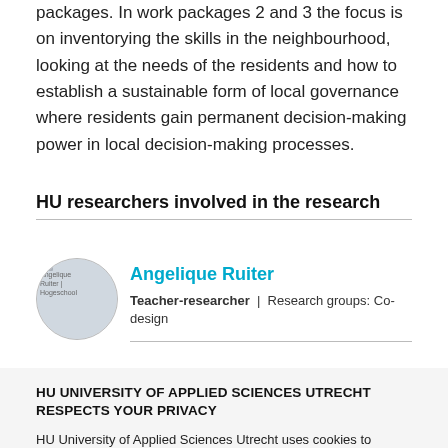packages. In work packages 2 and 3 the focus is on inventorying the skills in the neighbourhood, looking at the needs of the residents and how to establish a sustainable form of local governance where residents gain permanent decision-making power in local decision-making processes.
HU researchers involved in the research
[Figure (photo): Circular profile photo of Angelique Ruiter]
Angelique Ruiter
Teacher-researcher | Research groups: Co-design
HU UNIVERSITY OF APPLIED SCIENCES UTRECHT RESPECTS YOUR PRIVACY
HU University of Applied Sciences Utrecht uses cookies to provide you with a good and personal service. For an optimal user experience, click 'Allow all cookies'. We can then offer